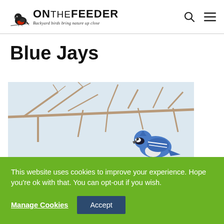ONTHEFEEDER — Backyard birds bring nature up close
Blue Jays
[Figure (photo): A blue jay bird perched among bare winter branches with a snowy/overcast background. The bird is visible in the lower right portion of the image showing its blue plumage.]
This website uses cookies to improve your experience. Hope you're ok with that. You can opt-out if you wish.
Manage Cookies  Accept